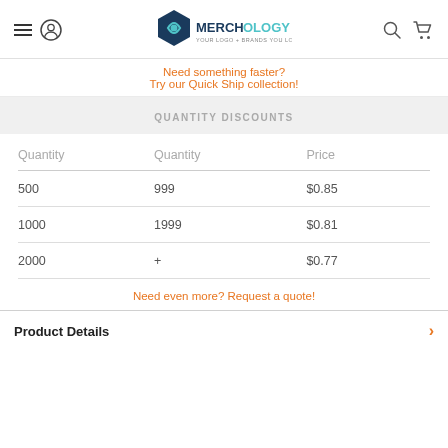Merchology — Your Logo + Brands You Love
Need something faster?
Try our Quick Ship collection!
QUANTITY DISCOUNTS
| Quantity | Quantity | Price |
| --- | --- | --- |
| 500 | 999 | $0.85 |
| 1000 | 1999 | $0.81 |
| 2000 | + | $0.77 |
Need even more? Request a quote!
Product Details